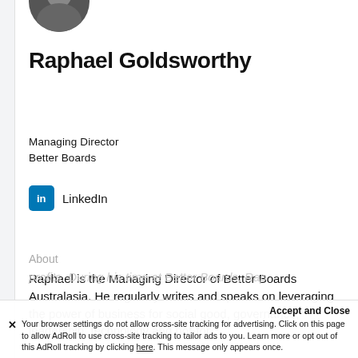[Figure (photo): Circular profile photo of Raphael Goldsworthy, partially cropped at top]
Raphael Goldsworthy
Managing Director
Better Boards
LinkedIn
About
Raphael is the Managing Director of Better Boards Australasia. He regularly writes and speaks on leveraging the power of business for social good, governance, leadership, technology and not-for-profits. During his time at Better Boards, Raph...
Accept and Close
Your browser settings do not allow cross-site tracking for advertising. Click on this page to allow AdRoll to use cross-site tracking to tailor ads to you. Learn more or opt out of this AdRoll tracking by clicking here. This message only appears once.